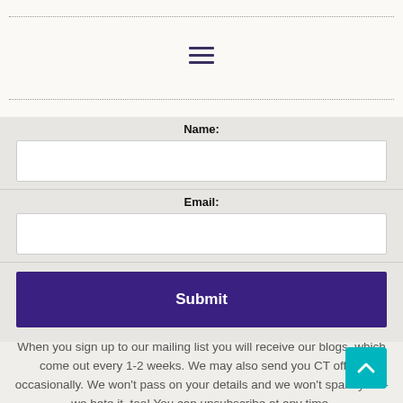☰
Name:
Email:
Submit
When you sign up to our mailing list you will receive our blogs, which come out every 1-2 weeks. We may also send you CT offers occasionally. We won't pass on your details and we won't spam you – we hate it, too! You can unsubscribe at any time.